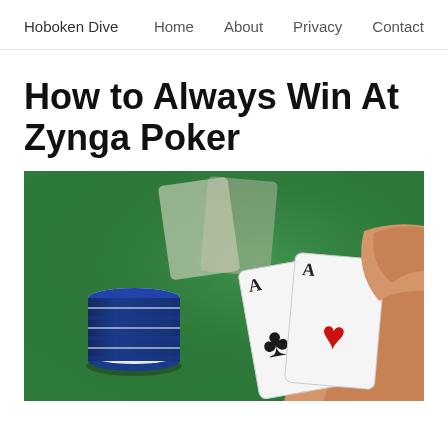Hoboken Dive  Home  About  Privacy  Contact
How to Always Win At Zynga Poker
[Figure (photo): Close-up photo of a hand holding two Ace playing cards (Ace of clubs and Ace of hearts) on a green poker table with blue and white poker chips stacked on the left side.]